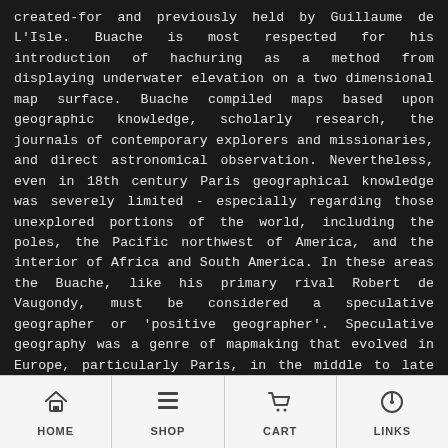created-for and previously held by Guillaume de L'Isle. Buache is most respected for his introduction of hachuring as a method from displaying underwater elevation on a two dimensional map surface. Buache compiled maps based upon geographic knowledge, scholarly research, the journals of contemporary explorers and missionaries, and direct astronomical observation. Nevertheless, even in 18th century Paris geographical knowledge was severely limited - especially regarding those unexplored portions of the world, including the poles, the Pacific northwest of America, and the interior of Africa and South America. In these areas the Buache, like his primary rival Robert de Vaugondy, must be considered a speculative geographer or 'positive geographer'. Speculative geography was a genre of mapmaking that evolved in Europe, particularly Paris, in the middle to late 18th century. Cartographers in this genre would fill in unknown areas on their maps with speculations based
HOME  SHOP  CART  LINKS